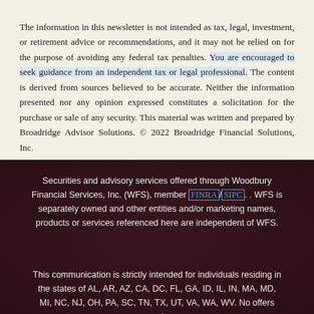The information in this newsletter is not intended as tax, legal, investment, or retirement advice or recommendations, and it may not be relied on for the purpose of avoiding any federal tax penalties. You are encouraged to seek guidance from an independent tax or legal professional. The content is derived from sources believed to be accurate. Neither the information presented nor any opinion expressed constitutes a solicitation for the purchase or sale of any security. This material was written and prepared by Broadridge Advisor Solutions. © 2022 Broadridge Financial Solutions, Inc.
Securities and advisory services offered through Woodbury Financial Services, Inc. (WFS), member FINRA/SIPC. . WFS is separately owned and other entities and/or marketing names, products or services referenced here are independent of WFS.
This communication is strictly intended for individuals residing in the states of AL, AR, AZ, CA, DC, FL, GA, ID, IL, IN, MA, MD, MI, NC, NJ, OH, PA, SC, TN, TX, UT, VA, WA, WV. No offers may be